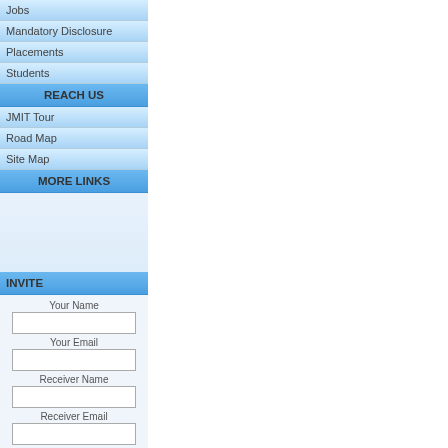Jobs
Mandatory Disclosure
Placements
Students
REACH US
JMIT Tour
Road Map
Site Map
MORE LINKS
INVITE
Your Name
Your Email
Receiver Name
Receiver Email
Real User Check
What is color of black sky?